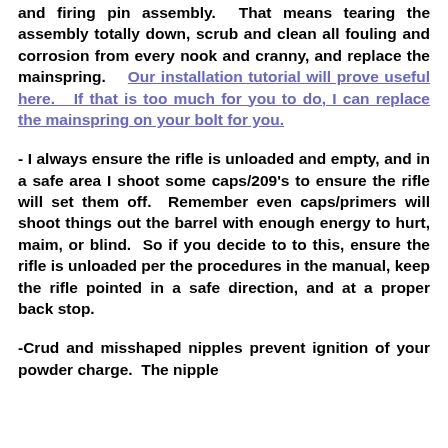and firing pin assembly.  That means tearing the assembly totally down, scrub and clean all fouling and corrosion from every nook and cranny, and replace the mainspring.    Our installation tutorial will prove useful here.   If that is too much for you to do, I can replace the mainspring on your bolt for you.
- I always ensure the rifle is unloaded and empty, and in a safe area I shoot some caps/209's to ensure the rifle will set them off.  Remember even caps/primers will shoot things out the barrel with enough energy to hurt, maim, or blind.  So if you decide to to this, ensure the rifle is unloaded per the procedures in the manual, keep the rifle pointed in a safe direction, and at a proper back stop.
-Crud and misshaped nipples prevent ignition of your powder charge.  The nipple